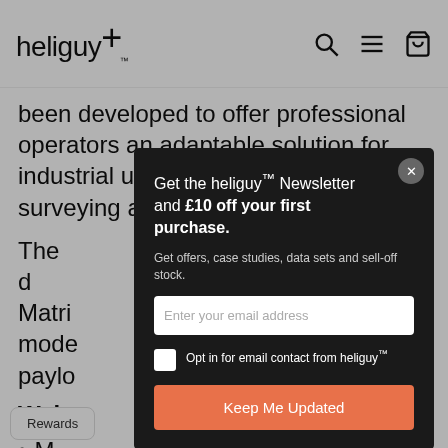heliguy™
been developed to offer professional operators an adaptable solution for industrial use cases such as including surveying and emergency servic
The d... Matri... mode... paylo...
Weig
M... ba...
[Figure (screenshot): Newsletter signup modal overlay on heliguy website. Modal title: 'Get the heliguy™ Newsletter and £10 off your first purchase.' Subtitle: 'Get offers, case studies, data sets and sell-off stock.' Email input field, opt-in checkbox, and orange 'Keep Me Updated' button.]